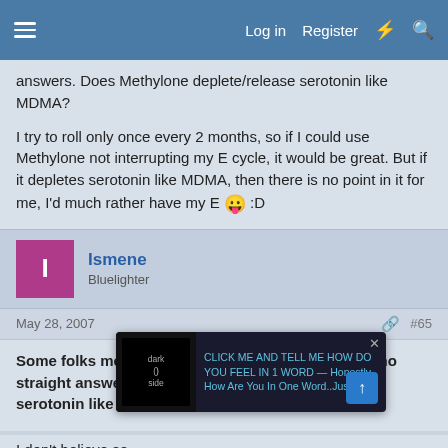Log in  Register
answers. Does Methylone deplete/release serotonin like MDMA?
I try to roll only once every 2 months, so if I could use Methylone not interrupting my E cycle, it would be great. But if it depletes serotonin like MDMA, then there is no point in it for me, I'd much rather have my E 😛 :D
Ismene
Bluelighter
May 28, 2007	#65
Some folks mentionned this above, but there were no straight answers. Does Methylone deplete/release serotonin like MDMA?
[Figure (screenshot): Advertisement overlay: dark side thumbnail with text 'CLICK ME AND TELL ME HOW DO YOU FEEL IN 1 WORD — Honestly. How Are You In One Word..Just 1']
I don't believe so